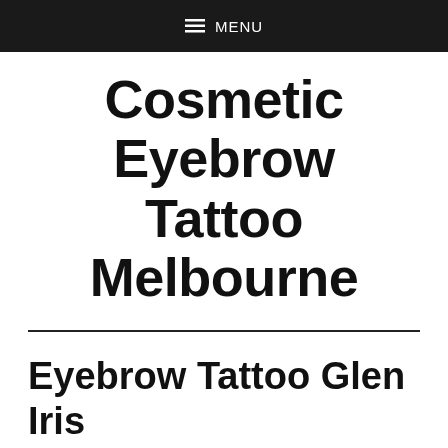MENU
Cosmetic Eyebrow Tattoo Melbourne
Eyebrow Tattoo Glen Iris